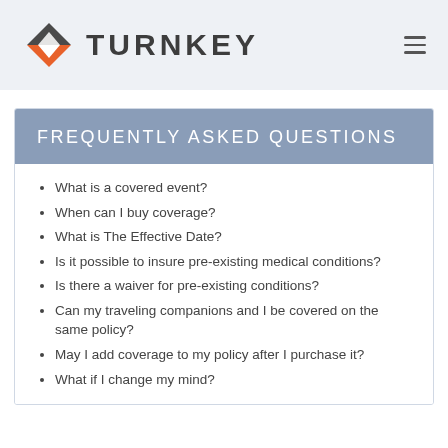TURNKEY
FREQUENTLY ASKED QUESTIONS
What is a covered event?
When can I buy coverage?
What is The Effective Date?
Is it possible to insure pre-existing medical conditions?
Is there a waiver for pre-existing conditions?
Can my traveling companions and I be covered on the same policy?
May I add coverage to my policy after I purchase it?
What if I change my mind?